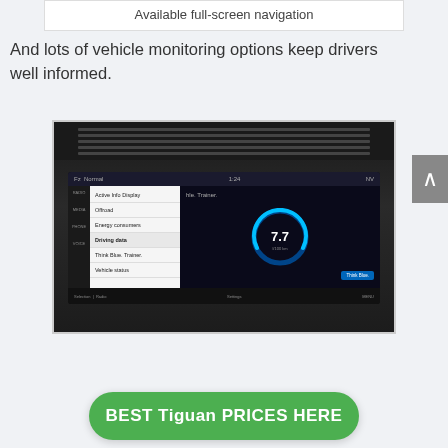Available full-screen navigation
And lots of vehicle monitoring options keep drivers well informed.
[Figure (photo): Photo of a Volkswagen Tiguan infotainment screen showing a menu with options: Active Info Display, Offroad, Energy consumers, Driving data, Think Blue. Trainer., Vehicle status. The right side shows a circular gauge displaying 7.7 and a Think Blue button. The car interior dashboard is visible around the screen.]
BEST Tiguan PRICES HERE